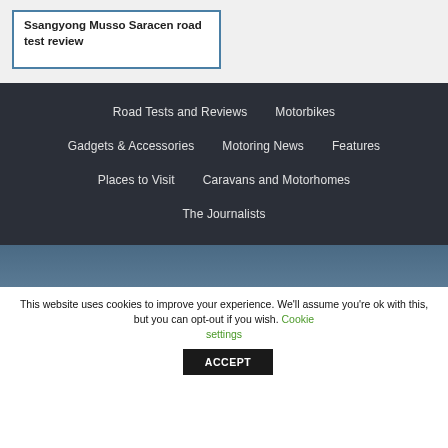Ssangyong Musso Saracen road test review
Road Tests and Reviews
Motorbikes
Gadgets & Accessories
Motoring News
Features
Places to Visit
Caravans and Motorhomes
The Journalists
This website uses cookies to improve your experience. We'll assume you're ok with this, but you can opt-out if you wish. Cookie settings ACCEPT